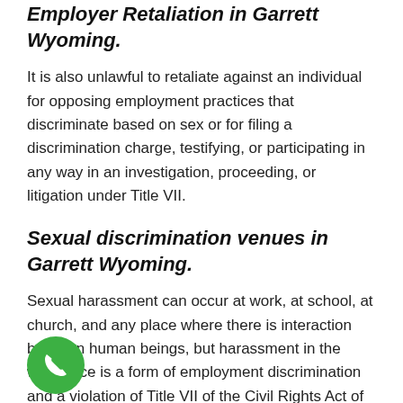Employer Retaliation in Garrett Wyoming.
It is also unlawful to retaliate against an individual for opposing employment practices that discriminate based on sex or for filing a discrimination charge, testifying, or participating in any way in an investigation, proceeding, or litigation under Title VII.
Sexual discrimination venues in Garrett Wyoming.
Sexual harassment can occur at work, at school, at church, and any place where there is interaction between human beings, but harassment in the workplace is a form of employment discrimination and a violation of Title VII of the Civil Rights Act of 1964, the American Disabilities Act of 1990, and the Age Discrimination in Employment Act of 7. Sexual discrimination is when someone is discriminated against for being male or female, and for being pregnant, with regard to work environment, gaining